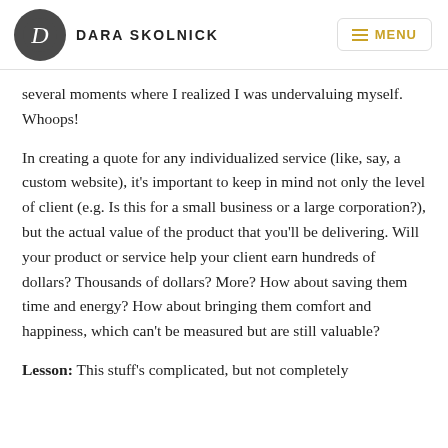DARA SKOLNICK | MENU
several moments where I realized I was undervaluing myself. Whoops!
In creating a quote for any individualized service (like, say, a custom website), it's important to keep in mind not only the level of client (e.g. Is this for a small business or a large corporation?), but the actual value of the product that you'll be delivering. Will your product or service help your client earn hundreds of dollars? Thousands of dollars? More? How about saving them time and energy? How about bringing them comfort and happiness, which can't be measured but are still valuable?
Lesson: This stuff's complicated, but not completely